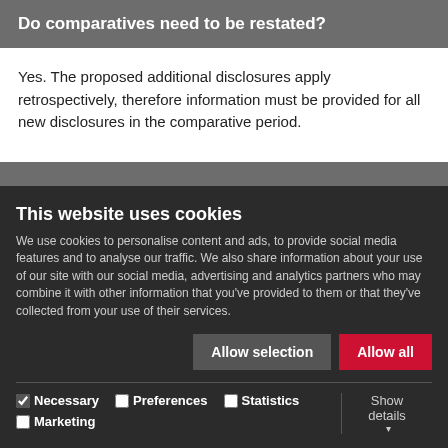Do comparatives need to be restated?
Yes. The proposed additional disclosures apply retrospectively, therefore information must be provided for all new disclosures in the comparative period.
Comments close
The New Zealand Accounting Standards Board is seeking
This website uses cookies
We use cookies to personalise content and ads, to provide social media features and to analyse our traffic. We also share information about your use of our site with our social media, advertising and analytics partners who may combine it with other information that you've provided to them or that they've collected from your use of their services.
Allow selection | Allow all
Necessary  Preferences  Statistics  Marketing  Show details